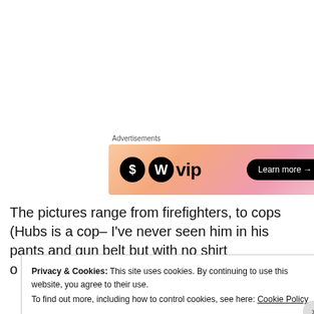Advertisements
[Figure (illustration): WordPress VIP advertisement banner with orange/pink gradient background, WordPress logo on left, 'Learn more →' button on right]
The pictures range from firefighters, to cops (Hubs is a cop– I've never seen him in his pants and gun belt but with no shirt
Privacy & Cookies: This site uses cookies. By continuing to use this website, you agree to their use.
To find out more, including how to control cookies, see here: Cookie Policy
Close and accept